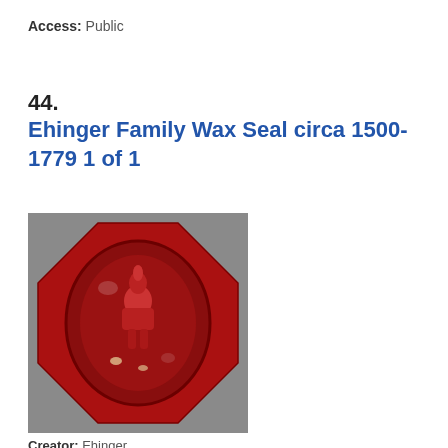Access: Public
44.
Ehinger Family Wax Seal circa 1500-1779 1 of 1
[Figure (photo): Photograph of a red octagonal wax seal with an embossed heraldic figure in the center oval, set against a grey background.]
Creator: Ehinger